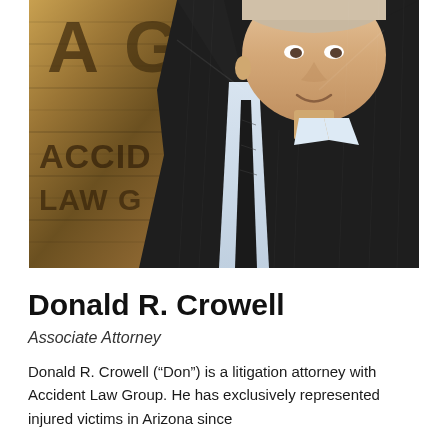[Figure (photo): Professional photo of Donald R. Crowell in a dark pinstripe suit and tie, standing in front of a wooden sign reading 'Accident Law Group']
Donald R. Crowell
Associate Attorney
Donald R. Crowell (“Don”) is a litigation attorney with Accident Law Group. He has exclusively represented injured victims in Arizona since